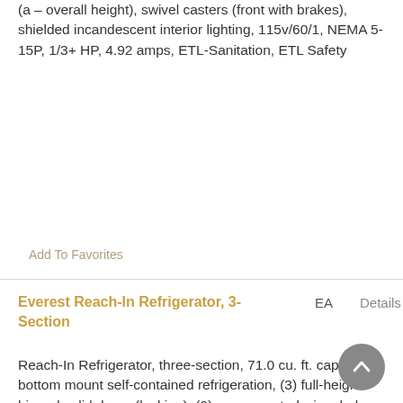(a – overall height), swivel casters (front with brakes), shielded incandescent interior lighting, 115v/60/1, NEMA 5-15P, 1/3+ HP, 4.92 amps, ETL-Sanitation, ETL Safety
Add To Favorites
Everest Reach-In Refrigerator, 3-Section
EA     Details
Reach-In Refrigerator, three-section, 71.0 cu. ft. capacity, bottom mount self-contained refrigeration, (3) full-height hinged solid doors (locking), (9) epoxy coated wire shelves, height adjustable clips, digital controls with LED display, auto defrost, LED interior lighting, stainless steel interior, stainless steel front &